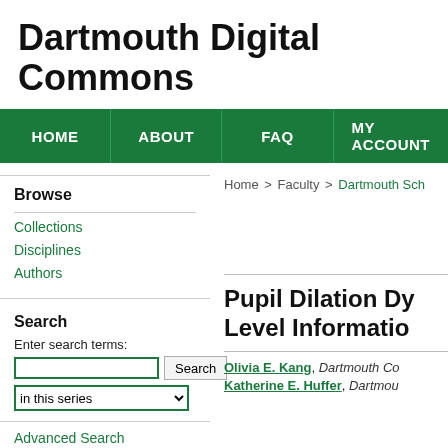Dartmouth Digital Commons
HOME | ABOUT | FAQ | MY ACCOUNT
Browse
Collections
Disciplines
Authors
Search
Enter search terms:
in this series
Advanced Search
Home > Faculty > Dartmouth Sch
Pupil Dilation Dy Level Informatio
Olivia E. Kang, Dartmouth Co
Katherine E. Huffer, Dartmou